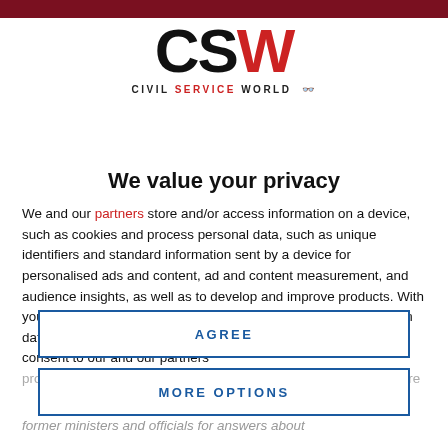[Figure (logo): CSW Civil Service World logo — large bold 'CSW' text above smaller 'CIVIL SERVICE WORLD' tagline with red dot icon]
We value your privacy
We and our partners store and/or access information on a device, such as cookies and process personal data, such as unique identifiers and standard information sent by a device for personalised ads and content, ad and content measurement, and audience insights, as well as to develop and improve products. With your permission we and our partners may use precise geolocation data and identification through device scanning. You may click to consent to our and our partners' processing as described above. Alternatively you may access more
AGREE
MORE OPTIONS
former ministers and officials for answers about